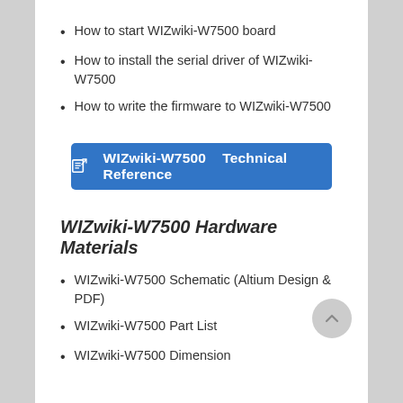How to start WIZwiki-W7500 board
How to install the serial driver of WIZwiki-W7500
How to write the firmware to WIZwiki-W7500
[Figure (other): Blue button linking to WIZwiki-W7500 Technical Reference]
WIZwiki-W7500 Hardware Materials
WIZwiki-W7500 Schematic (Altium Design & PDF)
WIZwiki-W7500 Part List
WIZwiki-W7500 Dimension